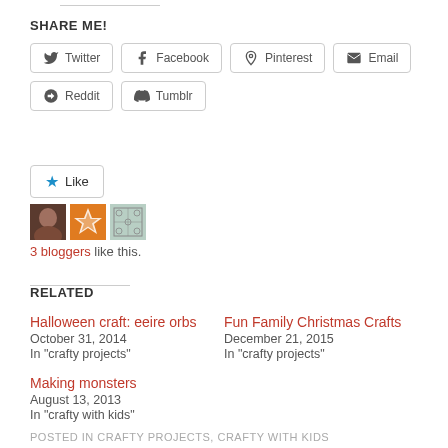SHARE ME!
Twitter
Facebook
Pinterest
Email
Reddit
Tumblr
3 bloggers like this.
RELATED
Halloween craft: eeire orbs
October 31, 2014
In "crafty projects"
Fun Family Christmas Crafts
December 21, 2015
In "crafty projects"
Making monsters
August 13, 2013
In "crafty with kids"
POSTED IN CRAFTY PROJECTS, CRAFTY WITH KIDS